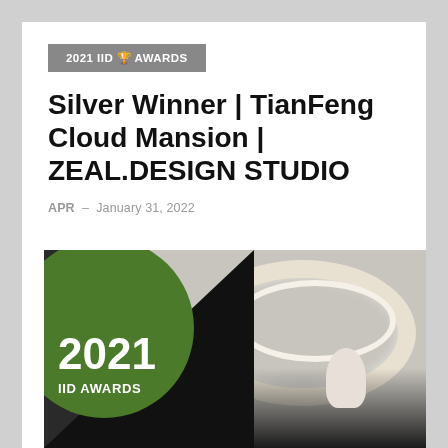2021 IID 🏆 AWARDS
Silver Winner | TianFeng Cloud Mansion | ZEAL.DESIGN STUDIO
APR  -  January 31, 2022
[Figure (photo): Interior design photo showing a luxury living space with a large oval ceiling light fixture, viewed from below. Lower-left corner features a black triangle with a green circle overlay showing '2021 IID AWARDS' text in white.]